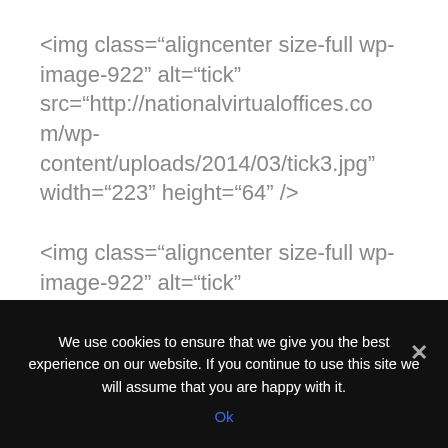<img class="aligncenter size-full wp-image-922" alt="tick" src="http://nationalvirtualoffices.com/wp-content/uploads/2014/03/tick3.jpg" width="223" height="64" />
<img class="aligncenter size-full wp-image-922" alt="tick" src="http://nationalvirtualoffices.com/wp-content/uploads/2014/03/tick3.jpg" width="223" height="64" />
We use cookies to ensure that we give you the best experience on our website. If you continue to use this site we will assume that you are happy with it.
Ok